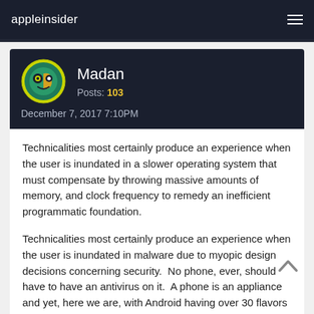appleinsider
[Figure (illustration): User avatar: circular icon with yellow border and dark green background showing a stylized face graphic]
Madan
Posts: 103
December 7, 2017 7:10PM
Technicalities most certainly produce an experience when the user is inundated in a slower operating system that must compensate by throwing massive amounts of memory, and clock frequency to remedy an inefficient programmatic foundation.
Technicalities most certainly produce an experience when the user is inundated in malware due to myopic design decisions concerning security.  No phone, ever, should have to have an antivirus on it.  A phone is an appliance and yet, here we are, with Android having over 30 flavors of antivirus.  Many exploits can infect Android via drive-by downloads.  Hilarious.
Technicalities most certainly produce an experience when